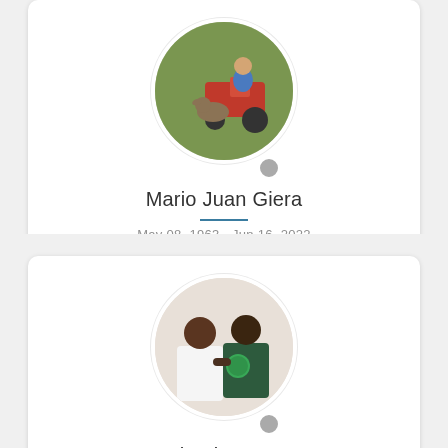[Figure (photo): Circular profile photo of Mario Juan Giera — a person sitting on farm equipment with a German Shepherd dog in front, outdoors near grass. Small grey status dot below the circle.]
Mario Juan Giera
May 08, 1963 - Jun 16, 2022
Lake Station, Indiana, United States
[Figure (photo): Circular profile photo of Stephanie L. Wynn — two people posing together smiling, one in a white top and one in a dark green t-shirt with text. Small grey status dot below the circle.]
Stephanie L. Wynn